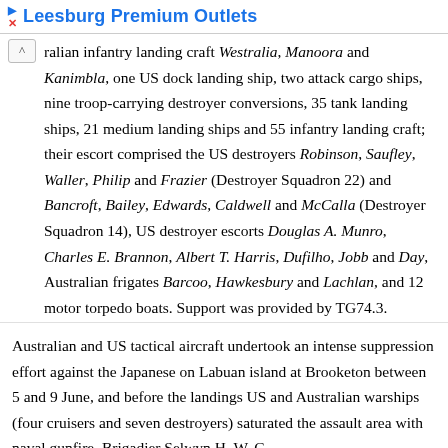Leesburg Premium Outlets
ralian infantry landing craft Westralia, Manoora and Kanimbla, one US dock landing ship, two attack cargo ships, nine troop-carrying destroyer conversions, 35 tank landing ships, 21 medium landing ships and 55 infantry landing craft; their escort comprised the US destroyers Robinson, Saufley, Waller, Philip and Frazier (Destroyer Squadron 22) and Bancroft, Bailey, Edwards, Caldwell and McCalla (Destroyer Squadron 14), US destroyer escorts Douglas A. Munro, Charles E. Brannon, Albert T. Harris, Dufilho, Jobb and Day, Australian frigates Barcoo, Hawkesbury and Lachlan, and 12 motor torpedo boats. Support was provided by TG74.3.
Australian and US tactical aircraft undertook an intense suppression effort against the Japanese on Labuan island at Brooketon between 5 and 9 June, and before the landings US and Australian warships (four cruisers and seven destroyers) saturated the assault area with naval gunfire. Brigadier Selwyn H. W. C...